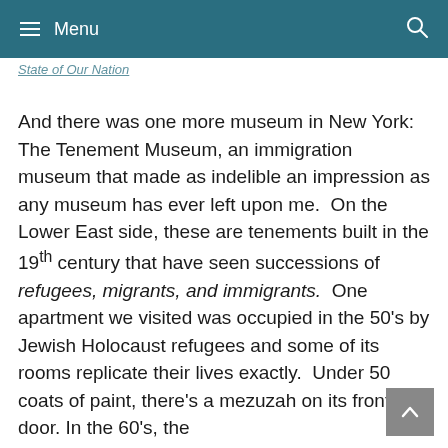≡ Menu
State of Our Nation
And there was one more museum in New York: The Tenement Museum, an immigration museum that made as indelible an impression as any museum has ever left upon me.  On the Lower East side, these are tenements built in the 19th century that have seen successions of refugees, migrants, and immigrants.  One apartment we visited was occupied in the 50's by Jewish Holocaust refugees and some of its rooms replicate their lives exactly.  Under 50 coats of paint, there's a mezuzah on its front door. In the 60's, the